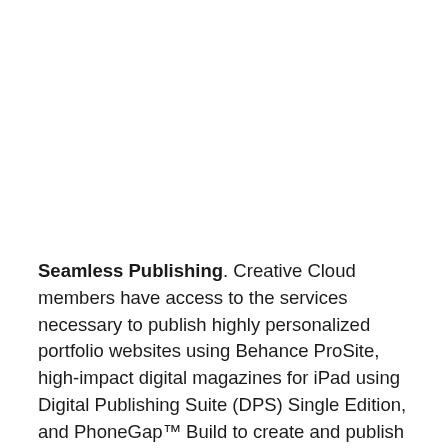Seamless Publishing. Creative Cloud members have access to the services necessary to publish highly personalized portfolio websites using Behance ProSite, high-impact digital magazines for iPad using Digital Publishing Suite (DPS) Single Edition, and PhoneGap™ Build to create and publish mobile apps for any device. Adobe Typekit features an unmatched library of old-classic to new-favorite fonts for use on websites –